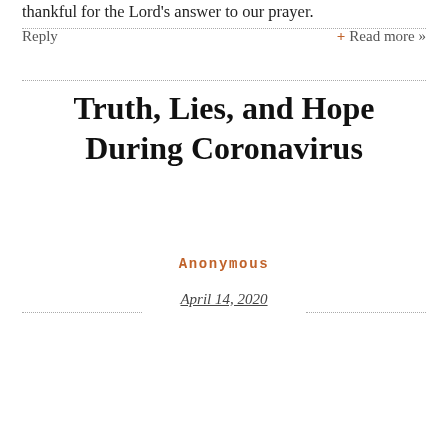thankful for the Lord's answer to our prayer.
Reply
+ Read more »
Truth, Lies, and Hope During Coronavirus
Anonymous
April 14, 2020